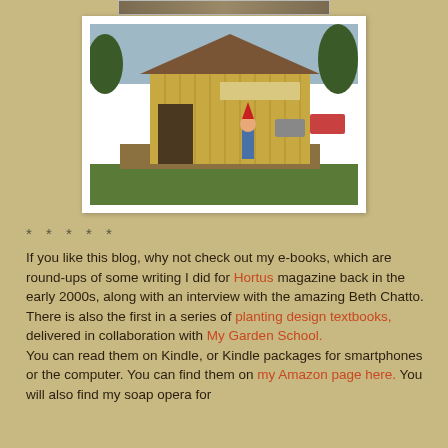[Figure (photo): Partial top image cropped at top of page]
[Figure (photo): A wooden barn-style building with yellow vertical siding and a dark roof, with a garden gnome statue near the entrance. Cars are parked in the background. Green grass in foreground.]
* * * * *
If you like this blog, why not check out my e-books, which are round-ups of some writing I did for Hortus magazine back in the early 2000s, along with an interview with the amazing Beth Chatto. There is also the first in a series of planting design textbooks, delivered in collaboration with My Garden School.
You can read them on Kindle, or Kindle packages for smartphones or the computer. You can find them on my Amazon page here. You will also find my soap opera for